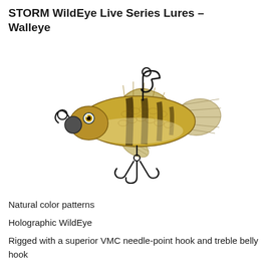STORM WildEye Live Series Lures – Walleye
[Figure (photo): A STORM WildEye Live Series fishing lure designed to look like a walleye fish, with natural color patterns in golden-yellow and dark striping, featuring a holographic eye, a jig head with a loop, a top hook, and a treble belly hook. The lure has a realistic fish body shape with fins.]
Natural color patterns
Holographic WildEye
Rigged with a superior VMC needle-point hook and treble belly hook